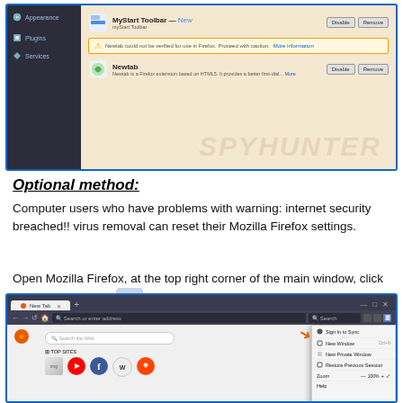[Figure (screenshot): Firefox Add-ons Manager showing MyStart Toolbar and Newtab extensions with Disable/Remove buttons and a warning bar saying Newtab could not be verified for use in Firefox.]
Optional method:
Computer users who have problems with warning: internet security breached!! virus removal can reset their Mozilla Firefox settings.
Open Mozilla Firefox, at the top right corner of the main window, click the Firefox menu, [hamburger icon] in the opened menu, click Help.
[Figure (screenshot): Mozilla Firefox browser window showing the hamburger menu opened with options: Sign In to Sync, New Window, New Private Window, Restore Previous Session, Zoom, Help. An orange arrow points to the hamburger menu icon.]